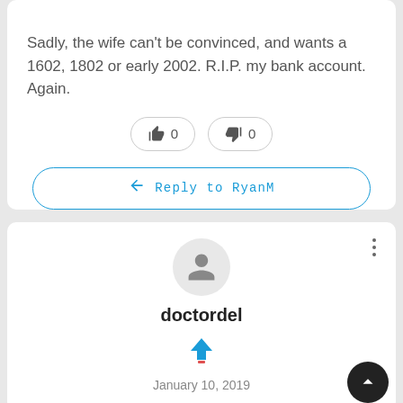Sadly, the wife can't be convinced, and wants a 1602, 1802 or early 2002. R.I.P. my bank account. Again.
[Figure (other): Like button with count 0 and dislike button with count 0]
Reply to RyanM
[Figure (other): User avatar circle with person silhouette icon]
doctordel
[Figure (other): Blue upvote arrow icon]
January 10, 2019